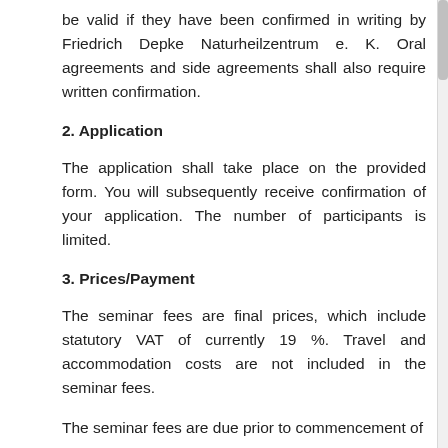be valid if they have been confirmed in writing by Friedrich Depke Naturheilzentrum e. K. Oral agreements and side agreements shall also require written confirmation.
2. Application
The application shall take place on the provided form. You will subsequently receive confirmation of your application. The number of participants is limited.
3. Prices/Payment
The seminar fees are final prices, which include statutory VAT of currently 19 %. Travel and accommodation costs are not included in the seminar fees.
The seminar fees are due prior to commencement of